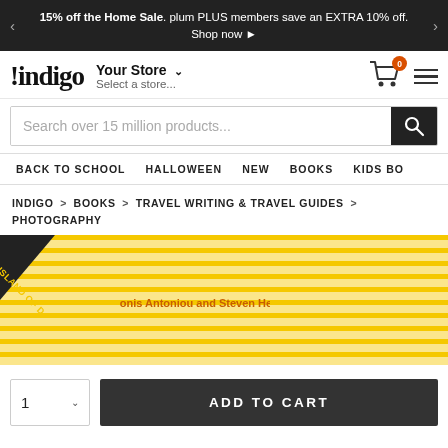15% off the Home Sale. plum PLUS members save an EXTRA 10% off. Shop now ▶
[Figure (screenshot): Indigo bookstore website header with logo, Your Store selector, cart icon, hamburger menu]
Search over 15 million products...
BACK TO SCHOOL   HALLOWEEN   NEW   BOOKS   KIDS BO
INDIGO > BOOKS > TRAVEL WRITING & TRAVEL GUIDES > PHOTOGRAPHY
[Figure (photo): Book covers with yellow stripe pattern, one rotated showing 'ISLAND OF...' text, center book shows 'Antonis Antoniou and Steven Heller' author text]
ADD TO CART